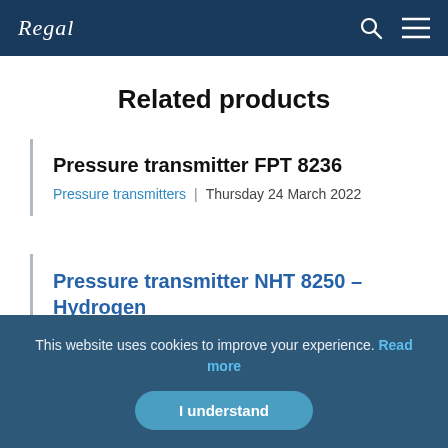Regal
Related products
Pressure transmitter FPT 8236
Pressure transmitters | Thursday 24 March 2022
Pressure transmitter NHT 8250 – Hydrogen
This website uses cookies to improve your experience. Read more
I understand